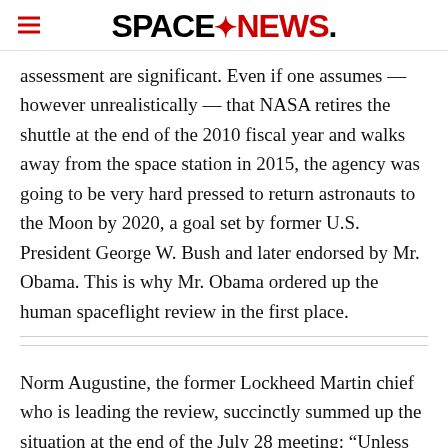SPACENEWS
assessment are significant. Even if one assumes — however unrealistically — that NASA retires the shuttle at the end of the 2010 fiscal year and walks away from the space station in 2015, the agency was going to be very hard pressed to return astronauts to the Moon by 2020, a goal set by former U.S. President George W. Bush and later endorsed by Mr. Obama. This is why Mr. Obama ordered up the human spaceflight review in the first place.
Norm Augustine, the former Lockheed Martin chief who is leading the review, succinctly summed up the situation at the end of the July 28 meeting: “Unless